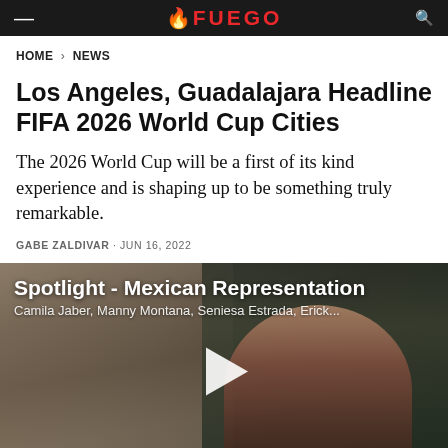FUEGO
HOME > NEWS
Los Angeles, Guadalajara Headline FIFA 2026 World Cup Cities
The 2026 World Cup will be a first of its kind experience and is shaping up to be something truly remarkable.
GABE ZALDIVAR · JUN 16, 2022
[Figure (screenshot): Video thumbnail showing a woman with curly hair against a stone wall background. Title reads 'Spotlight - Mexican Representation' with subtitle listing Camila Jaber, Manny Montana, Seniesa Estrada, Erick... A play button triangle is visible in the center. Lower third shows 'CAMILA JABER'.]